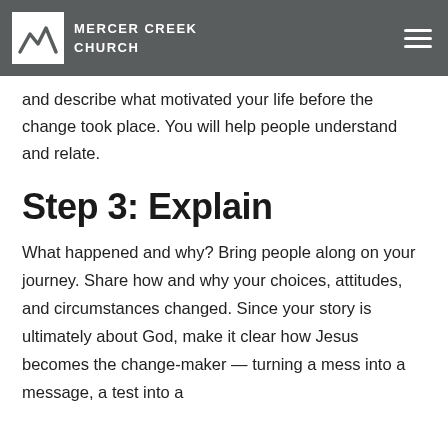MERCER CREEK CHURCH
and describe what motivated your life before the change took place. You will help people understand and relate.
Step 3: Explain
What happened and why? Bring people along on your journey. Share how and why your choices, attitudes, and circumstances changed. Since your story is ultimately about God, make it clear how Jesus becomes the change-maker — turning a mess into a message, a test into a